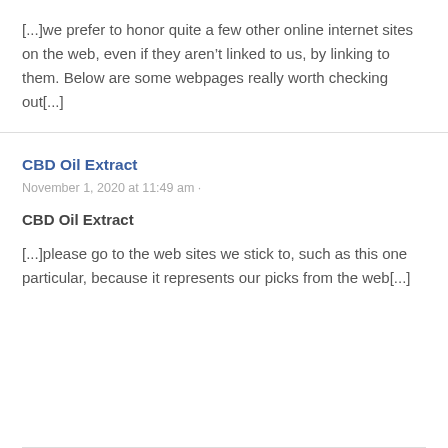[…]we prefer to honor quite a few other online internet sites on the web, even if they aren’t linked to us, by linking to them. Below are some webpages really worth checking out[…]
CBD Oil Extract
November 1, 2020 at 11:49 am ·
CBD Oil Extract
[…]please go to the web sites we stick to, such as this one particular, because it represents our picks from the web[…]